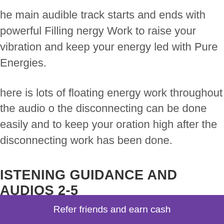he main audible track starts and ends with powerful Filling nergy Work to raise your vibration and keep your energy led with Pure Energies.
here is lots of floating energy work throughout the audio o the disconnecting can be done easily and to keep your oration high after the disconnecting work has been done.
ISTENING GUIDANCE AND AUDIOS 2-5
ou will receive guidance emails once you purchase audio advising you on how to get the most from this audio.
Refer friends and earn cash